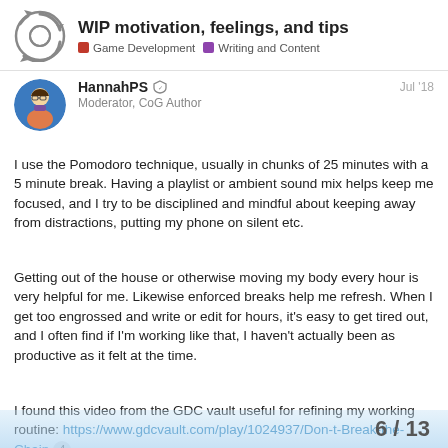WIP motivation, feelings, and tips | Game Development | Writing and Content
HannahPS  Moderator, CoG Author  Jul '18
I use the Pomodoro technique, usually in chunks of 25 minutes with a 5 minute break. Having a playlist or ambient sound mix helps keep me focused, and I try to be disciplined and mindful about keeping away from distractions, putting my phone on silent etc.
Getting out of the house or otherwise moving my body every hour is very helpful for me. Likewise enforced breaks help me refresh. When I get too engrossed and write or edit for hours, it's easy to get tired out, and I often find if I'm working like that, I haven't actually been as productive as it felt at the time.
I found this video from the GDC vault useful for refining my working routine: https://www.gdcvault.com/play/1024937/Don-t-Break-the-Chain  4
6 / 13